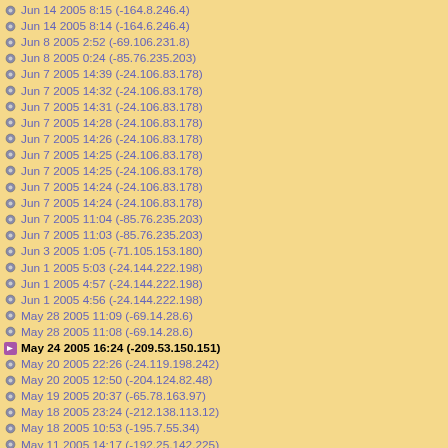Jun 14 2005 8:15  (-164.8.246.4)
Jun 14 2005 8:14  (-164.6.246.4)
Jun 8 2005 2:52  (-69.106.231.8)
Jun 8 2005 0:24  (-85.76.235.203)
Jun 7 2005 14:39  (-24.106.83.178)
Jun 7 2005 14:32  (-24.106.83.178)
Jun 7 2005 14:31  (-24.106.83.178)
Jun 7 2005 14:28  (-24.106.83.178)
Jun 7 2005 14:26  (-24.106.83.178)
Jun 7 2005 14:25  (-24.106.83.178)
Jun 7 2005 14:25  (-24.106.83.178)
Jun 7 2005 14:24  (-24.106.83.178)
Jun 7 2005 14:24  (-24.106.83.178)
Jun 7 2005 11:04  (-85.76.235.203)
Jun 7 2005 11:03  (-85.76.235.203)
Jun 3 2005 1:05  (-71.105.153.180)
Jun 1 2005 5:03  (-24.144.222.198)
Jun 1 2005 4:57  (-24.144.222.198)
Jun 1 2005 4:56  (-24.144.222.198)
May 28 2005 11:09  (-69.14.28.6)
May 28 2005 11:08  (-69.14.28.6)
May 24 2005 16:24  (-209.53.150.151)
May 20 2005 22:26  (-24.119.198.242)
May 20 2005 12:50  (-204.124.82.48)
May 19 2005 20:37  (-65.78.163.97)
May 18 2005 23:24  (-212.138.113.12)
May 18 2005 10:53  (-195.7.55.34)
May 11 2005 14:17  (-192.25.142.225)
May 10 2005 6:55  (-208.20.220.69)
May 10 2005 6:54  (-208.20.220.69)